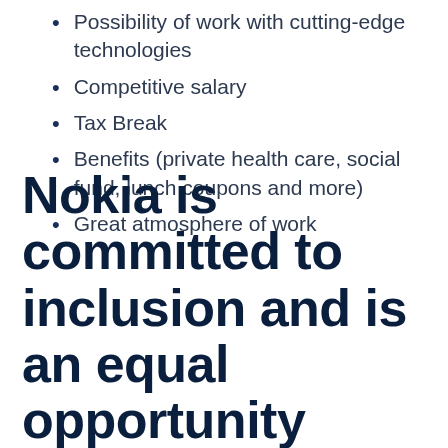Possibility of work with cutting-edge technologies
Competitive salary
Tax Break
Benefits (private health care, social fund, lunch coupons and more)
Great atmosphere of work
Nokia is committed to inclusion and is an equal opportunity